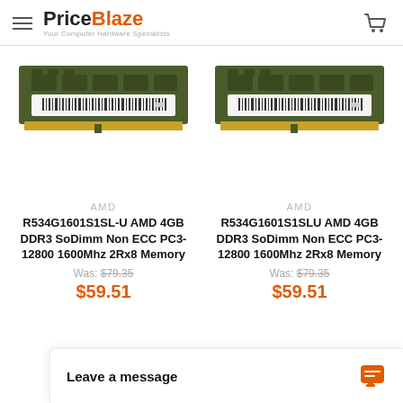PriceBlaze — Your Computer Hardware Specialists
[Figure (photo): RAM memory module — AMD R534G1601S1SL-U 4GB DDR3 SoDimm, left product]
[Figure (photo): RAM memory module — AMD R534G1601S1SLU 4GB DDR3 SoDimm, right product]
AMD
R534G1601S1SL-U AMD 4GB DDR3 SoDimm Non ECC PC3-12800 1600Mhz 2Rx8 Memory
Was: $79.35
$59.51
AMD
R534G1601S1SLU AMD 4GB DDR3 SoDimm Non ECC PC3-12800 1600Mhz 2Rx8 Memory
Was: $79.35
$59.51
Leave a message